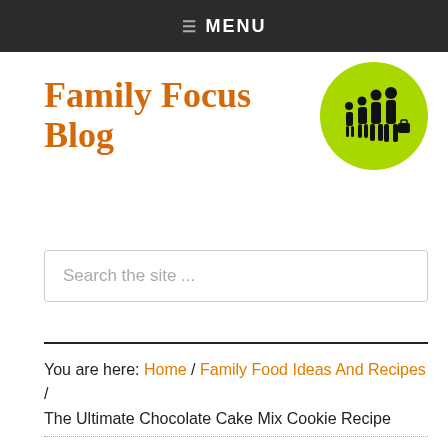☰ MENU
Family Focus Blog
[Figure (logo): Green circle logo with black silhouette of a family (two adults, two children) standing together]
Search the site ...
You are here: Home / Family Food Ideas And Recipes / The Ultimate Chocolate Cake Mix Cookie Recipe